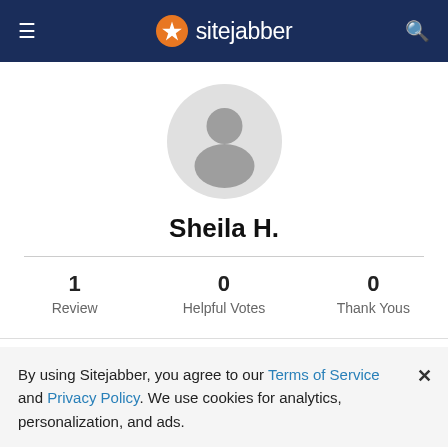sitejabber
[Figure (illustration): Generic user avatar: circular grey silhouette of a person on light grey background]
Sheila H.
1 Review   0 Helpful Votes   0 Thank Yous
By using Sitejabber, you agree to our Terms of Service and Privacy Policy. We use cookies for analytics, personalization, and ads.